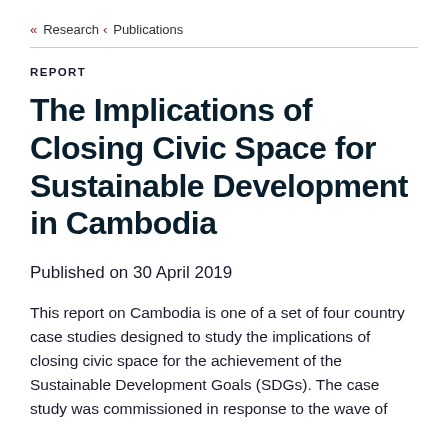« Research < Publications
REPORT
The Implications of Closing Civic Space for Sustainable Development in Cambodia
Published on 30 April 2019
This report on Cambodia is one of a set of four country case studies designed to study the implications of closing civic space for the achievement of the Sustainable Development Goals (SDGs). The case study was commissioned in response to the wave of